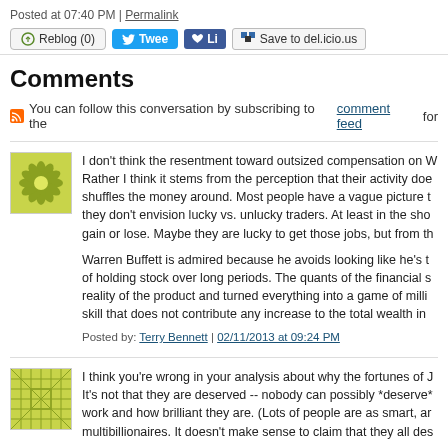Posted at 07:40 PM | Permalink
Reblog (0)  Tweet  Li  Save to del.icio.us
Comments
You can follow this conversation by subscribing to the comment feed for
[Figure (illustration): Green flower/snowflake avatar icon for user Terry Bennett]
I don't think the resentment toward outsized compensation on W Rather I think it stems from the perception that their activity doe shuffles the money around. Most people have a vague picture t they don't envision lucky vs. unlucky traders. At least in the sho gain or lose. Maybe they are lucky to get those jobs, but from th

Warren Buffett is admired because he avoids looking like he's t of holding stock over long periods. The quants of the financial s reality of the product and turned everything into a game of milli skill that does not contribute any increase to the total wealth in
Posted by: Terry Bennett | 02/11/2013 at 09:24 PM
[Figure (illustration): Green geometric grid/lattice avatar icon for second commenter]
I think you're wrong in your analysis about why the fortunes of J It's not that they are deserved -- nobody can possibly *deserve* work and how brilliant they are. (Lots of people are as smart, ar multibillionaires. It doesn't make sense to claim that they all des